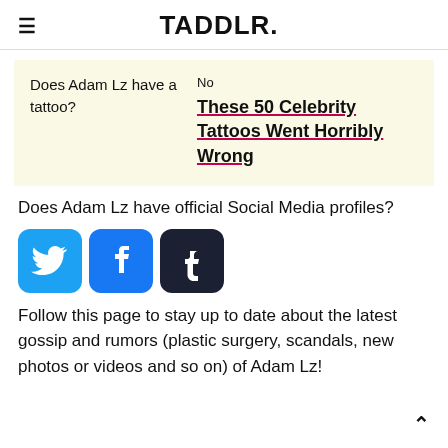TADDLR.
| Does Adam Lz have a tattoo? | No
These 50 Celebrity Tattoos Went Horribly Wrong |
Does Adam Lz have official Social Media profiles?
[Figure (infographic): Three social media icons: Twitter (blue bird), Facebook (blue f), Tumblr (dark blue t)]
Follow this page to stay up to date about the latest gossip and rumors (plastic surgery, scandals, new photos or videos and so on) of Adam Lz!